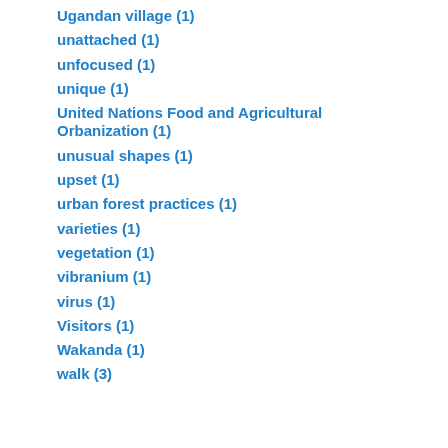Ugandan village (1)
unattached (1)
unfocused (1)
unique (1)
United Nations Food and Agricultural Orbanization (1)
unusual shapes (1)
upset (1)
urban forest practices (1)
varieties (1)
vegetation (1)
vibranium (1)
virus (1)
Visitors (1)
Wakanda (1)
walk (3)